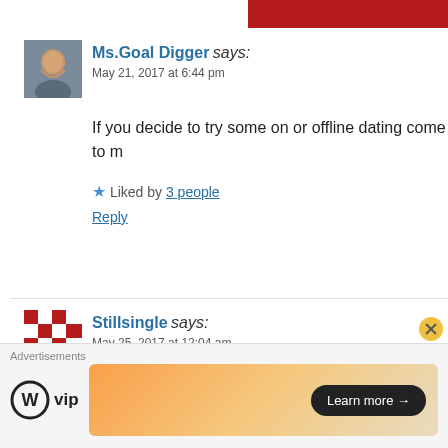Ms.Goal Digger says: May 21, 2017 at 6:44 pm
If you decide to try some on or offline dating come to m
Liked by 3 people
Reply
Stillsingle says: May 25, 2017 at 12:04 am
Great post…. Ive come across some complete nutcases online….. More crazies than normal people sadly 🌕
Advertisements
[Figure (logo): WordPress VIP logo with circle W icon and 'vip' text]
[Figure (infographic): Advertisement banner with gradient orange/tan background and 'Learn more →' button]